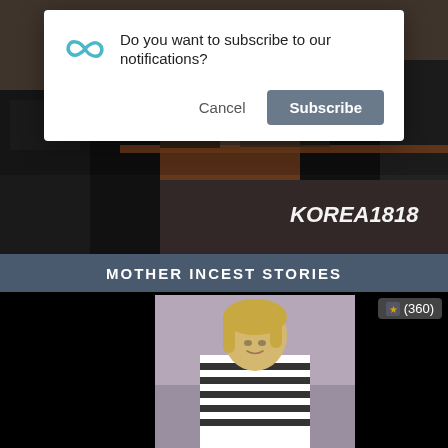[Figure (screenshot): Video thumbnail showing a room/office scene with dark background and KOREA1818 watermark in bottom right]
[Figure (screenshot): Browser notification dialog asking 'Do you want to subscribe to our notifications?' with Cancel and Subscribe buttons, featuring an infinity/loop icon]
MOTHER INCEST STORIES
[Figure (screenshot): Video thumbnail showing a blonde woman in a striped tank top against a room background, with a (360) rating badge in the top right]